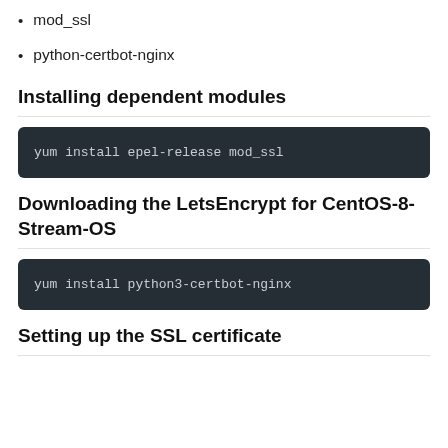mod_ssl
python-certbot-nginx
Installing dependent modules
yum install epel-release mod_ssl
Downloading the LetsEncrypt for CentOS-8-Stream-OS
yum install python3-certbot-nginx
Setting up the SSL certificate